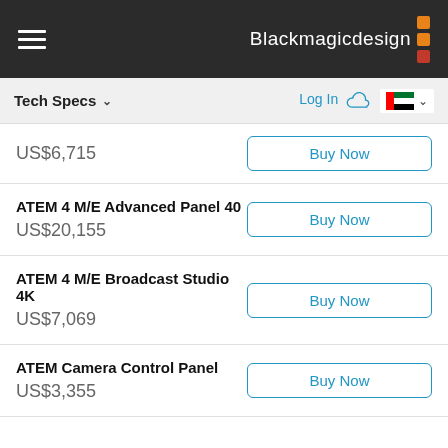Blackmagicdesign
Tech Specs
Log In
US$6,715
ATEM 4 M/E Advanced Panel 40
US$20,155
ATEM 4 M/E Broadcast Studio 4K
US$7,069
ATEM Camera Control Panel
US$3,355